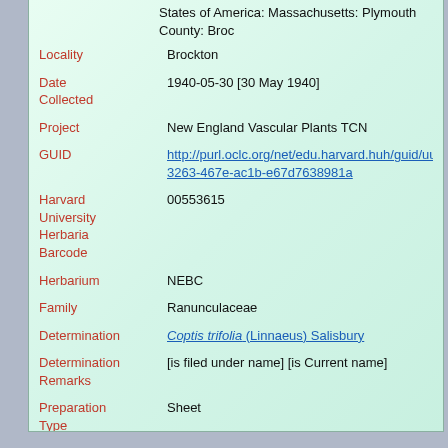States of America: Massachusetts: Plymouth County: Brockton
Locality: Brockton
Date Collected: 1940-05-30 [30 May 1940]
Project: New England Vascular Plants TCN
GUID: http://purl.oclc.org/net/edu.harvard.huh/guid/uuid/fec...3263-467e-ac1b-e67d7638981a
Harvard University Herbaria Barcode: 00553615
Herbarium: NEBC
Family: Ranunculaceae
Determination: Coptis trifolia (Linnaeus) Salisbury
Determination Remarks: [is filed under name] [is Current name]
Preparation Type: Sheet
Preparation Method: Pressed